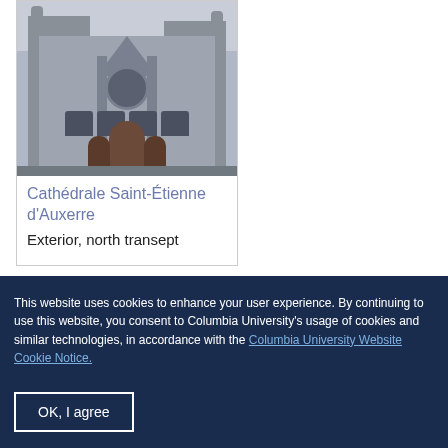[Figure (photo): Photograph of the exterior north transept of Cathédrale Saint-Étienne d'Auxerre, a Gothic cathedral with rose window, arched doors, towers, and buttresses.]
Cathédrale Saint-Étienne d'Auxerre Exterior, north transept
This website uses cookies to enhance your user experience. By continuing to use this website, you consent to Columbia University's usage of cookies and similar technologies, in accordance with the Columbia University Website Cookie Notice.
OK, I agree